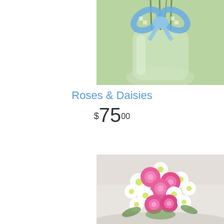[Figure (photo): Top portion of a floral arrangement in a glass vase with blue and white checkered ribbon, on a light green background. Only the lower part of the vase and ribbon are visible.]
Roses & Daisies
$75.00
[Figure (photo): A lush bouquet of pink roses and white daisies with yellow centers, arranged in a round cluster. The bouquet is photographed from above-front angle on a soft white/grey background.]